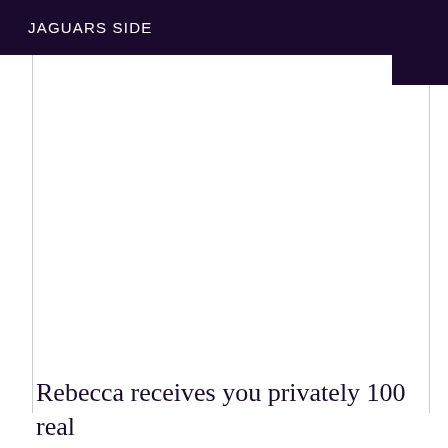JAGUARS SIDE
Rebecca receives you privately 100 real